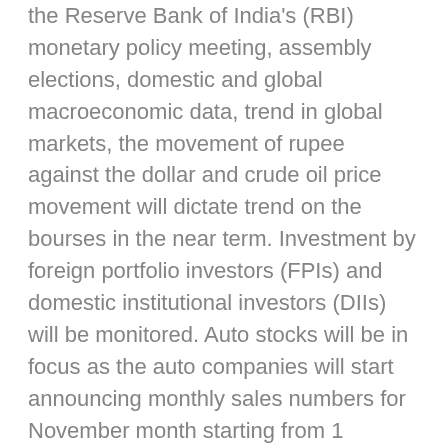the Reserve Bank of India's (RBI) monetary policy meeting, assembly elections, domestic and global macroeconomic data, trend in global markets, the movement of rupee against the dollar and crude oil price movement will dictate trend on the bourses in the near term. Investment by foreign portfolio investors (FPIs) and domestic institutional investors (DIIs) will be monitored. Auto stocks will be in focus as the auto companies will start announcing monthly sales numbers for November month starting from 1 December 2018. Monetary Policy Committee (MPC) will meet during 3 to 5 December 2018 for the Fifth Bi-monthly Monetary Policy Statement for 2018-19. The resolution of the MPC will be announced on 5 December 2018. On the global front, investors are awaiting outcome of the two-day G-20 summit in Argentina. Trade will be high on the